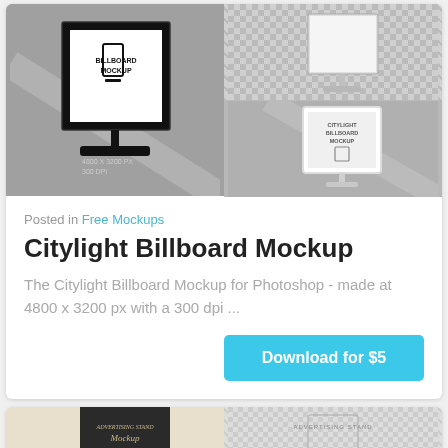[Figure (photo): Citylight Billboard Mockup product images: left half shows a dark billboard stand with 'BILLBOARD MOCKUP' text and specs '4800 x 3200 PX 300 DPI' on grey background; top-right shows a 3D angled billboard on checkered background; bottom-right shows a white-framed citylight billboard with 'CITYLIGHT BILLBOARD MOCKUP' on dark grey background.]
Posted in Free Mockups
Citylight Billboard Mockup
The Citylight Billboard Mockup for Photoshop - made at 4800 x 3200 px with a 300 dpi ...
Download for $5
[Figure (photo): Partial preview of a second product: Advertising Stand Mockup on beige/dark background, partially visible.]